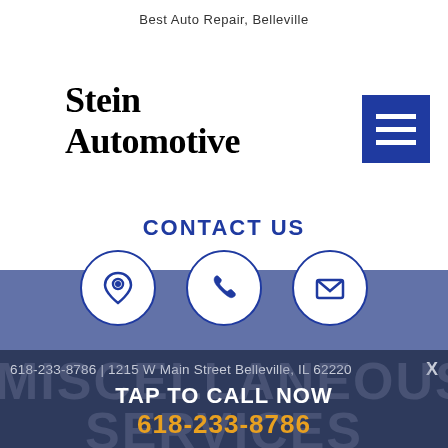Best Auto Repair, Belleville
Stein Automotive
[Figure (other): Hamburger menu icon (three horizontal white lines on dark blue square background)]
CONTACT US
[Figure (infographic): Three circular contact icons: location pin, telephone, and envelope, each outlined in dark blue on white background]
618-233-8786 | 1215 W Main Street Belleville, IL 62220
TAP TO CALL NOW
618-233-8786
MISCELLANEOUS AUTO SERVICES